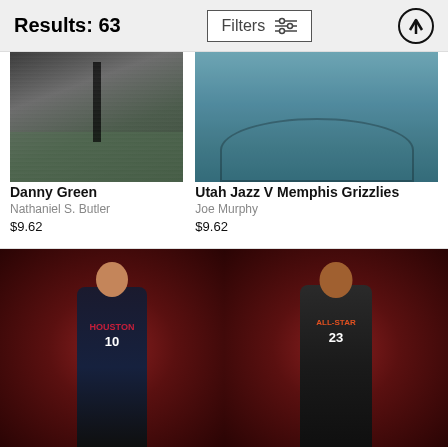Results: 63
Filters
[Figure (photo): Basketball game photo - Danny Green, NBA action shot from courtside angle]
Danny Green
Nathaniel S. Butler
$9.62
[Figure (photo): Basketball game photo - Utah Jazz V Memphis Grizzlies, aerial view of court]
Utah Jazz V Memphis Grizzlies
Joe Murphy
$9.62
[Figure (photo): NBA player in Houston Rockets #10 jersey posing against red background]
[Figure (photo): NBA player in All-Star #23 jersey posing against red background]